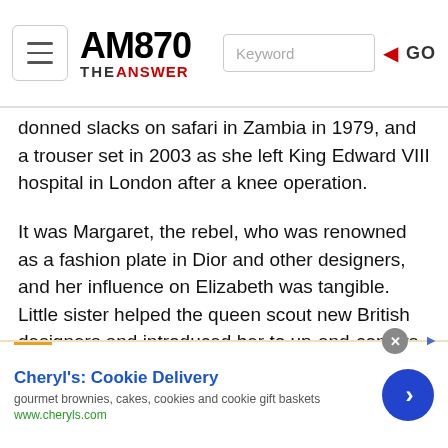AM870 THE ANSWER — navigation header with menu, logo, keyword search, GO button
donned slacks on safari in Zambia in 1979, and a trouser set in 2003 as she left King Edward VIII hospital in London after a knee operation.
It was Margaret, the rebel, who was renowned as a fashion plate in Dior and other designers, and her influence on Elizabeth was tangible. Little sister helped the queen scout new British designers and introduced her to up-and-comers, such as milliner Simone Mirman, according to Holt. Mirman created some of the queen's standout hats, including her Tudor-style “medieval helmet,” as Hartnell called it, in soft yellow, for the 1969 investiture of Prince Charles.
[Figure (other): Advertisement banner for Cheryl's Cookie Delivery showing title, subtitle 'gourmet brownies, cakes, cookies and cookie gift baskets', URL www.cheryls.com, and a blue circle with arrow button]